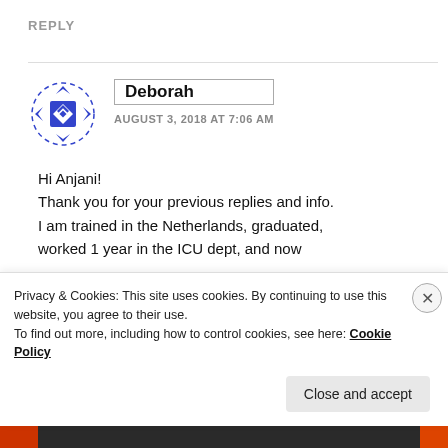REPLY
[Figure (illustration): Blue geometric diamond/snowflake avatar icon with dashed border]
Deborah
AUGUST 3, 2018 AT 7:06 AM
Hi Anjani!
Thank you for your previous replies and info.
I am trained in the Netherlands, graduated,
worked 1 year in the ICU dept, and now
Privacy & Cookies: This site uses cookies. By continuing to use this website, you agree to their use.
To find out more, including how to control cookies, see here: Cookie Policy